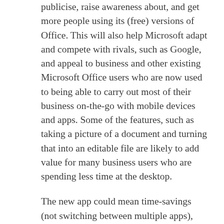publicise, raise awareness about, and get more people using its (free) versions of Office.  This will also help Microsoft adapt and compete with rivals, such as Google, and appeal to business and other existing Microsoft Office users who are now used to being able to carry out most of their business on-the-go with mobile devices and apps.  Some of the features, such as taking a picture of a document and turning that into an editable file are likely to add value for many business users who are spending less time at the desktop.
The new app could mean time-savings (not switching between multiple apps), convenience and greater leverage of mobile capabilities for users, and for Microsoft, it offers them a way to